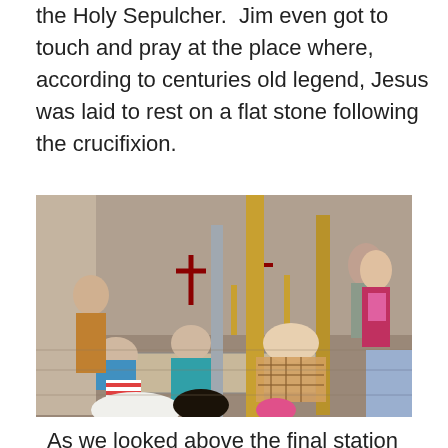the Holy Sepulcher. Jim even got to touch and pray at the place where, according to centuries old legend, Jesus was laid to rest on a flat stone following the crucifixion.
[Figure (photo): People inside the Church of the Holy Sepulcher kneeling and touching a flat stone slab on the floor, surrounded by ornate golden columns and candelabras. A man in a plaid shirt bends down to touch the stone, while other visitors look on or pray nearby.]
As we looked above the final station (the tomb of Jesus), sunlight was streaming in the oculus at the top of